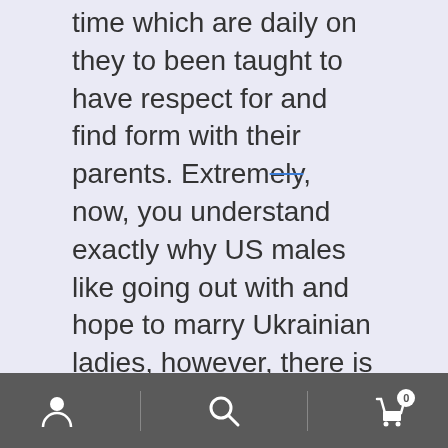time which are daily on they to been taught to have respect for and find form with their parents. Extremely, now, you understand exactly why US males like going out with and hope to marry Ukrainian ladies, however, there is however so much more to it. Take care, because after looking over this particular article, would probably not provide the ability to prevent daydreaming about merely one
[Figure (screenshot): Mobile app bottom navigation bar with person/account icon, search icon, and shopping cart icon with badge showing 0]